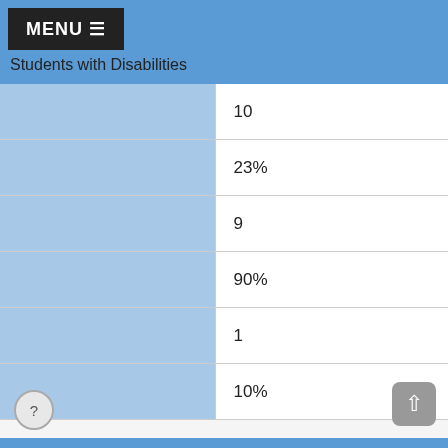Students with Disabilities
|  |  |
| --- | --- |
|  | 10 |
|  | 23% |
|  | 9 |
|  | 90% |
|  | 1 |
|  | 10% |
Asian or Native Hawaiian/Other Pacific Islander
|  |  |
| --- | --- |
|  | 2 |
|  | 5% |
|  | 2 |